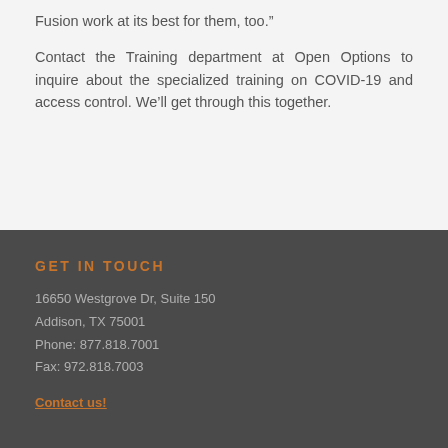Fusion work at its best for them, too.”
Contact the Training department at Open Options to inquire about the specialized training on COVID-19 and access control. We’ll get through this together.
GET IN TOUCH
16650 Westgrove Dr, Suite 150
Addison, TX 75001
Phone: 877.818.7001
Fax: 972.818.7003
Contact us!